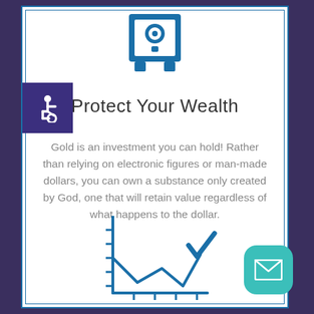[Figure (illustration): Blue icon of a safe/vault at the top of the card]
[Figure (illustration): Blue accessibility wheelchair icon on a dark purple background badge on the left edge]
Protect Your Wealth
Gold is an investment you can hold! Rather than relying on electronic figures or man-made dollars, you can own a substance only created by God, one that will retain value regardless of what happens to the dollar.
[Figure (illustration): Blue icon of a stock/line chart with a checkmark at the bottom of the card]
[Figure (illustration): Teal rounded square envelope/mail badge at the bottom right]